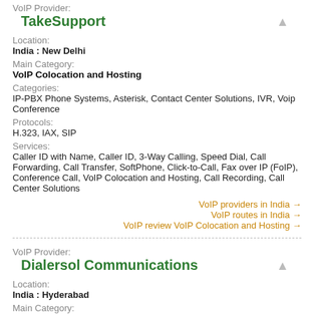VoIP Provider:
TakeSupport
Location:
India : New Delhi
Main Category:
VoIP Colocation and Hosting
Categories:
IP-PBX Phone Systems, Asterisk, Contact Center Solutions, IVR, Voip Conference
Protocols:
H.323, IAX, SIP
Services:
Caller ID with Name, Caller ID, 3-Way Calling, Speed Dial, Call Forwarding, Call Transfer, SoftPhone, Click-to-Call, Fax over IP (FoIP), Conference Call, VoIP Colocation and Hosting, Call Recording, Call Center Solutions
VoIP providers in India →
VoIP routes in India →
VoIP review VoIP Colocation and Hosting →
VoIP Provider:
Dialersol Communications
Location:
India : Hyderabad
Main Category:
VoIP Origination